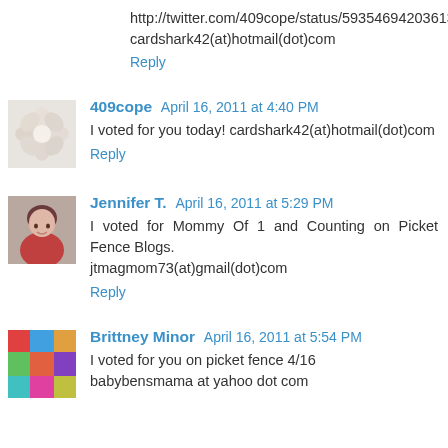http://twitter.com/409cope/status/59354694203613184
cardshark42(at)hotmail(dot)com
Reply
409cope  April 16, 2011 at 4:40 PM
I voted for you today! cardshark42(at)hotmail(dot)com
Reply
Jennifer T.  April 16, 2011 at 5:29 PM
I voted for Mommy Of 1 and Counting on Picket Fence Blogs.
jtmagmom73(at)gmail(dot)com
Reply
Brittney Minor  April 16, 2011 at 5:54 PM
I voted for you on picket fence 4/16
babybensmama at yahoo dot com